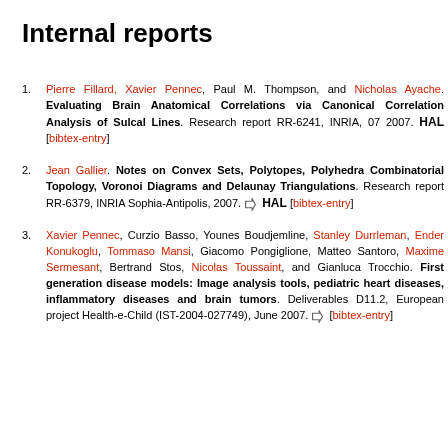Internal reports
Pierre Fillard, Xavier Pennec, Paul M. Thompson, and Nicholas Ayache. Evaluating Brain Anatomical Correlations via Canonical Correlation Analysis of Sulcal Lines. Research report RR-6241, INRIA, 07 2007. HAL [bibtex-entry]
Jean Gallier. Notes on Convex Sets, Polytopes, Polyhedra Combinatorial Topology, Voronoi Diagrams and Delaunay Triangulations. Research report RR-6379, INRIA Sophia-Antipolis, 2007. HAL [bibtex-entry]
Xavier Pennec, Curzio Basso, Younes Boudjemline, Stanley Durrleman, Ender Konukoglu, Tommaso Mansi, Giacomo Pongiglione, Matteo Santoro, Maxime Sermesant, Bertrand Stos, Nicolas Toussaint, and Gianluca Trocchio. First generation disease models: Image analysis tools, pediatric heart diseases, inflammatory diseases and brain tumors. Deliverables D11.2, European project Health-e-Child (IST-2004-027749), June 2007. [bibtex-entry]